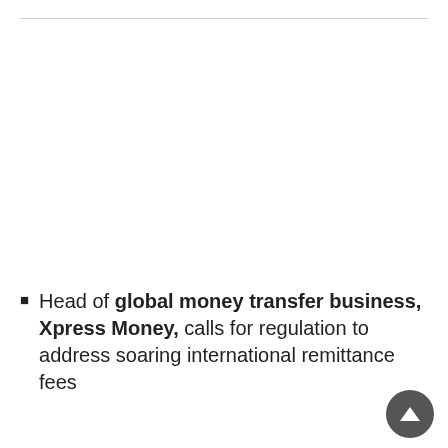Head of global money transfer business, Xpress Money, calls for regulation to address soaring international remittance fees